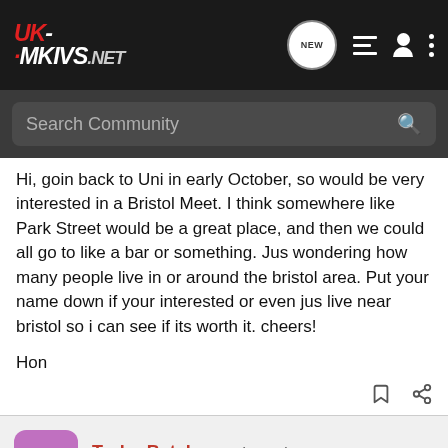UK-MKIVS.NET
Search Community
Hi, goin back to Uni in early October, so would be very interested in a Bristol Meet. I think somewhere like Park Street would be a great place, and then we could all go to like a bar or something. Jus wondering how many people live in or around the bristol area. Put your name down if your interested or even jus live near bristol so i can see if its worth it. cheers!

Hon
Turbo Batch · Registered
Joined Oct 8, 2002 · 345 Posts
#2 · Aug 14, 2004